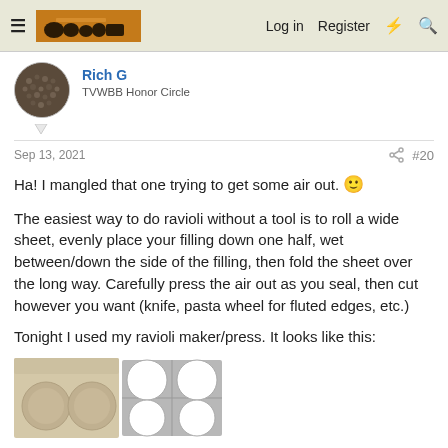Log in  Register
Rich G
TVWBB Honor Circle
Sep 13, 2021  #20
Ha! I mangled that one trying to get some air out. 🙂
The easiest way to do ravioli without a tool is to roll a wide sheet, evenly place your filling down one half, wet between/down the side of the filling, then fold the sheet over the long way. Carefully press the air out as you seal, then cut however you want (knife, pasta wheel for fluted edges, etc.)
Tonight I used my ravioli maker/press. It looks like this:
[Figure (photo): A ravioli maker/press tray with circular molds — cream-colored plastic tray on left with round indentations, metal grid tray on right with circular cutouts showing white round forms]